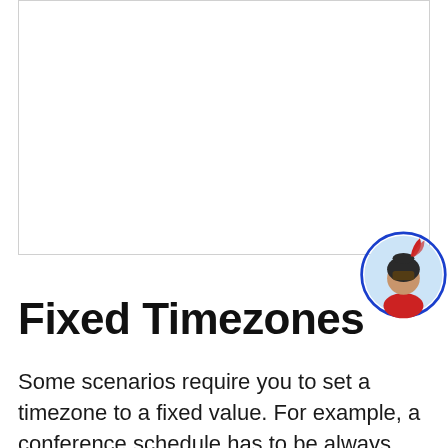[Figure (screenshot): A white empty screenshot/UI area with a border, representing a code editor or application window.]
[Figure (illustration): A circular avatar illustration showing a knight/ninja character with a dark helmet and red feather on a light blue background, enclosed in a blue oval outline.]
Fixed Timezones
Some scenarios require you to set a timezone to a fixed value. For example, a conference schedule has to be always displayed in the timezone of the organizer regardless of the timezone in which the